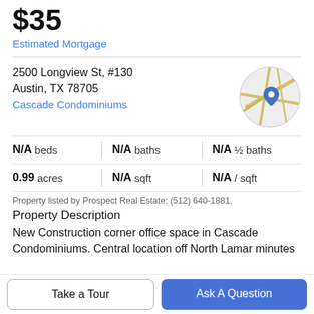$35
Estimated Mortgage
2500 Longview St, #130
Austin, TX 78705
Cascade Condominiums
[Figure (map): Circular map thumbnail showing location with a blue pin marker over street map]
| N/A beds | N/A baths | N/A ½ baths |
| 0.99 acres | N/A sqft | N/A / sqft |
Property listed by Prospect Real Estate: (512) 640-1881.
Property Description
New Construction corner office space in Cascade Condominiums. Central location off North Lamar minutes
Take a Tour
Ask A Question